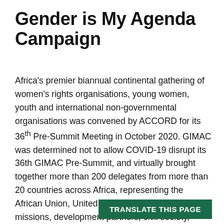Gender is My Agenda Campaign
Africa's premier biannual continental gathering of women's rights organisations, young women, youth and international non-governmental organisations was convened by ACCORD for its 36th Pre-Summit Meeting in October 2020. GIMAC was determined not to allow COVID-19 disrupt its 36th GIMAC Pre-Summit, and virtually brought together more than 200 delegates from more than 20 countries across Africa, representing the African Union, United Nations, diplomatic missions, development partners, civil society, representatives from media, academia, women and youth.
TRANSLATE THIS PAGE